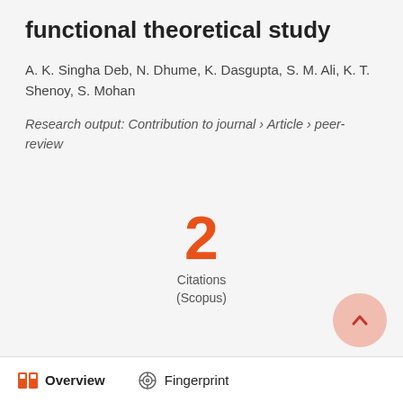functional theoretical study
A. K. Singha Deb, N. Dhume, K. Dasgupta, S. M. Ali, K. T. Shenoy, S. Mohan
Research output: Contribution to journal › Article › peer-review
2
Citations
(Scopus)
Overview   Fingerprint